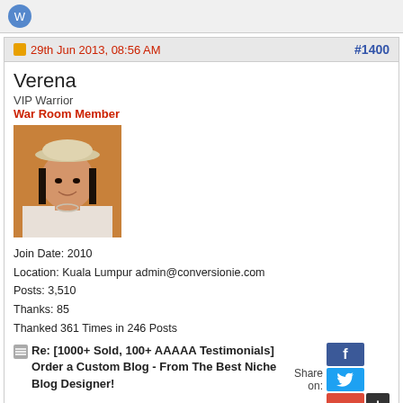29th Jun 2013, 08:56 AM
#1400
Verena
VIP Warrior
War Room Member
[Figure (photo): Profile photo of Verena, a woman wearing a white hat, smiling]
Join Date: 2010
Location: Kuala Lumpur admin@conversionie.com
Posts: 3,510
Thanks: 85
Thanked 361 Times in 246 Posts
Re: [1000+ Sold, 100+ AAAAA Testimonials] Order a Custom Blog - From The Best Niche Blog Designer!
Share on:
Originally Posted by krish997